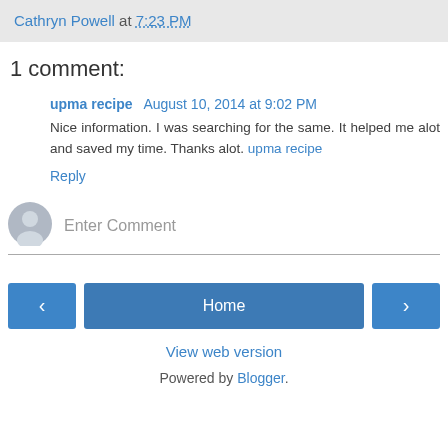Cathryn Powell at 7:23 PM
1 comment:
upma recipe  August 10, 2014 at 9:02 PM
Nice information. I was searching for the same. It helped me alot and saved my time. Thanks alot. upma recipe
Reply
[Figure (other): User avatar placeholder circle with person silhouette icon, gray color]
Enter Comment
< Home > View web version Powered by Blogger.